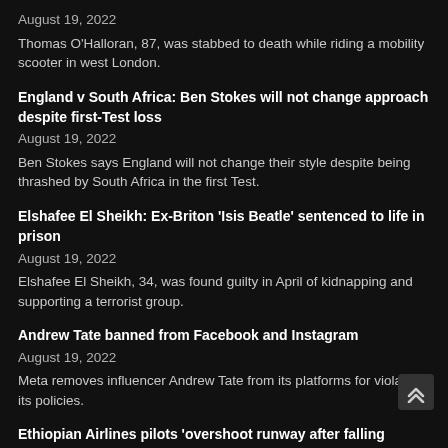August 19, 2022
Thomas O'Halloran, 87, was stabbed to death while riding a mobility scooter in west London.
England v South Africa: Ben Stokes will not change approach despite first-Test loss
August 19, 2022
Ben Stokes says England will not change their style despite being thrashed by South Africa in the first Test.
Elshafee El Sheikh: Ex-Briton 'Isis Beatle' sentenced to life in prison
August 19, 2022
Elshafee El Sheikh, 34, was found guilty in April of kidnapping and supporting a terrorist group.
Andrew Tate banned from Facebook and Instagram
August 19, 2022
Meta removes influencer Andrew Tate from its platforms for violating its policies.
Ethiopian Airlines pilots 'overshoot runway after falling asleep'
August 19, 2022
The Ethiopian Airlines pilots dozed off at 37,000ft but woke to land.